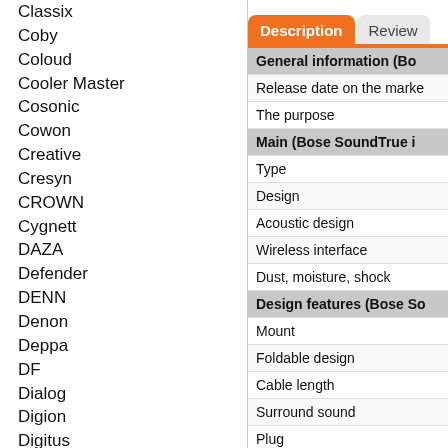Classix
Coby
Coloud
Cooler Master
Cosonic
Cowon
Creative
Cresyn
CROWN
Cygnett
DAZA
Defender
DENN
Denon
Deppa
DF
Dialog
Digion
Digitus
Dowell
Dunu
EasyTouch
Edifier
Ednet
Elecom
| Property |
| --- |
| General information (Bo... |
| Release date on the marke... |
| The purpose |
| Main (Bose SoundTrue i... |
| Type |
| Design |
| Acoustic design |
| Wireless interface |
| Dust, moisture, shock |
| Design features (Bose So... |
| Mount |
| Foldable design |
| Cable length |
| Surround sound |
| Plug |
| The shape of the plug |
| Volume control |